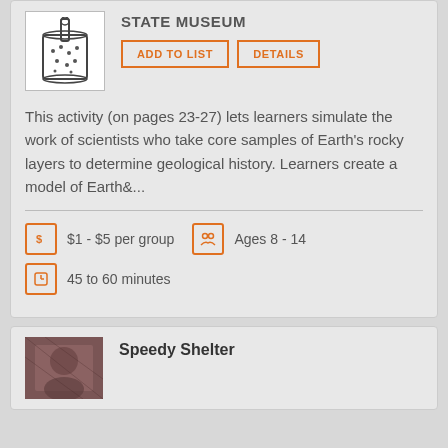[Figure (illustration): Line drawing of a cylindrical container with a stick/tool inserted, showing dots/particles inside, resembling a core sample instrument]
STATE MUSEUM
ADD TO LIST
DETAILS
This activity (on pages 23-27) lets learners simulate the work of scientists who take core samples of Earth's rocky layers to determine geological history. Learners create a model of Earth&...
$1 - $5 per group   Ages 8 - 14
45 to 60 minutes
[Figure (photo): Photo of a person, brownish/reddish toned image]
Speedy Shelter